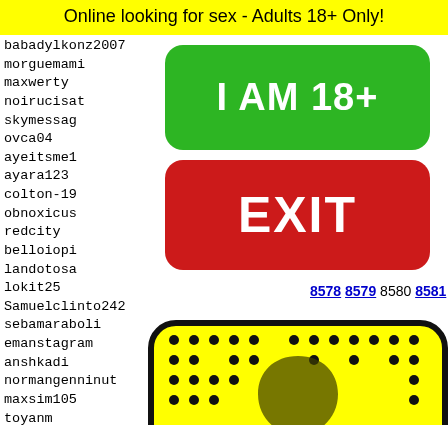Online looking for sex - Adults 18+ Only!
babadylkonz2007
morguemami
maxwerty
noirucisat
skymessag
ovca04
ayeitsme1
ayara123
colton-19
obnoxicus
redcity
belloiopi
landotosa
lokit25
Samuelclinto242
sebamaraboli
emanstagram
anshkadi
normangenninut
maxsim105
toyanm
aleeee
Red920
Candi1
jack42
pd21xd
8578 8579 8580 8581 8582
[Figure (illustration): Snapchat ghost logo on yellow background with rounded rectangle border and dot grid pattern]